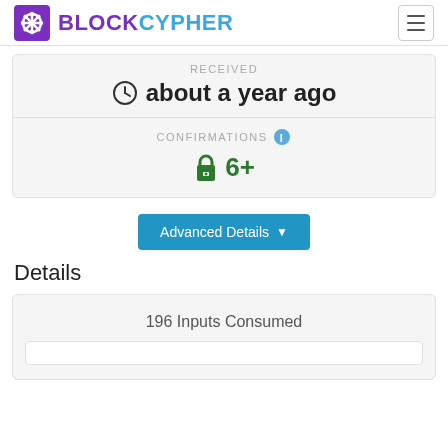BLOCKCYPHER
RECEIVED
about a year ago
CONFIRMATIONS
6+
Advanced Details
Details
196 Inputs Consumed